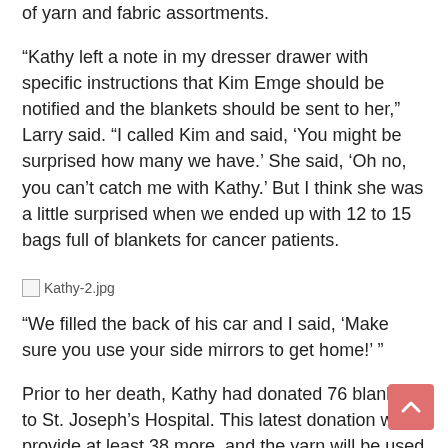of yarn and fabric assortments.
“Kathy left a note in my dresser drawer with specific instructions that Kim Emge should be notified and the blankets should be sent to her,” Larry said. “I called Kim and said, ‘You might be surprised how many we have.’ She said, ‘Oh no, you can’t catch me with Kathy.’ But I think she was a little surprised when we ended up with 12 to 15 bags full of blankets for cancer patients.
[Figure (photo): Kathy-2.jpg image placeholder]
“We filled the back of his car and I said, ‘Make sure you use your side mirrors to get home!’ ”
Prior to her death, Kathy had donated 76 blankets to St. Joseph’s Hospital. This latest donation will provide at least 38 more, and the yarn will be used to crochet more in the future. They will be given to patients through our Cancer Resource Center as well as to people receiving palliative care services.